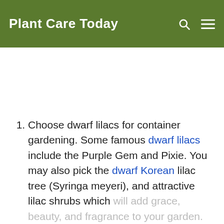Plant Care Today
Choose dwarf lilacs for container gardening. Some famous dwarf lilacs include the Purple Gem and Pixie. You may also pick the dwarf Korean lilac tree (Syringa meyeri), and attractive lilac shrubs which will add grace, beauty, and fragrance to your garden.